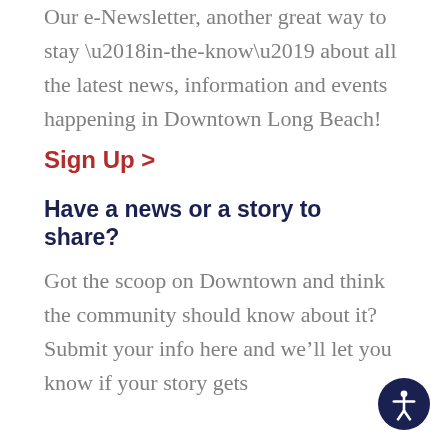Our e-Newsletter, another great way to stay ‘in-the-know’ about all the latest news, information and events happening in Downtown Long Beach!
Sign Up >
Have a news or a story to share?
Got the scoop on Downtown and think the community should know about it? Submit your info here and we’ll let you know if your story gets